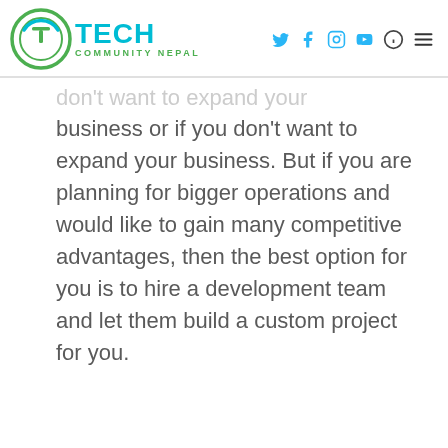[Figure (logo): Tech Community Nepal logo with circular icon and teal/green text]
[Figure (other): Navigation icons: Twitter, Facebook, Instagram, YouTube, info circle, hamburger menu]
business or if you don't want to expand your business. But if you are planning for bigger operations and would like to gain many competitive advantages, then the best option for you is to hire a development team and let them build a custom project for you.